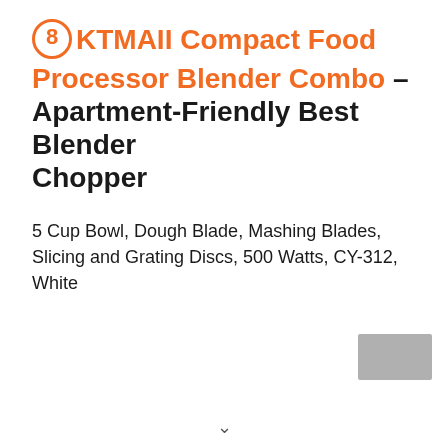8 KTMAII Compact Food Processor Blender Combo – Apartment-Friendly Best Blender Chopper
5 Cup Bowl, Dough Blade, Mashing Blades, Slicing and Grating Discs, 500 Watts, CY-312, White